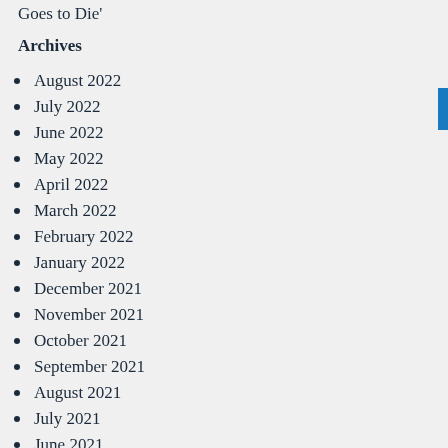Goes to Die'
Archives
August 2022
July 2022
June 2022
May 2022
April 2022
March 2022
February 2022
January 2022
December 2021
November 2021
October 2021
September 2021
August 2021
July 2021
June 2021
May 2021
April 2021